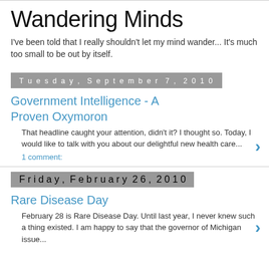Wandering Minds
I've been told that I really shouldn't let my mind wander... It's much too small to be out by itself.
Tuesday, September 7, 2010
Government Intelligence - A Proven Oxymoron
That headline caught your attention, didn't it? I thought so. Today, I would like to talk with you about our delightful new health care...
1 comment:
Friday, February 26, 2010
Rare Disease Day
February 28 is Rare Disease Day. Until last year, I never knew such a thing existed. I am happy to say that the governor of Michigan issue...